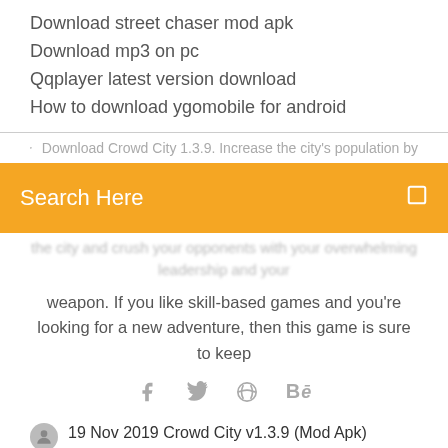Download street chaser mod apk
Download mp3 on pc
Qqplayer latest version download
How to download ygomobile for android
[Figure (screenshot): Partial row showing heart icon and truncated text: Download Crowd City 1.3.9. Increase the city's population by]
[Figure (screenshot): Orange search bar with text 'Search Here' in white and a search icon on the right]
weapon. If you like skill-based games and you’re looking for a new adventure, then this game is sure to keep
[Figure (infographic): Social media icons: Facebook (f), Twitter (bird), dribbble, Behance]
19 Nov 2019 Crowd City v1.3.9 (Mod Apk) Become the biggest crowd in town! Gather people accross the city and crush your opponents with your overwhelming leadership! MOD: Download Install.